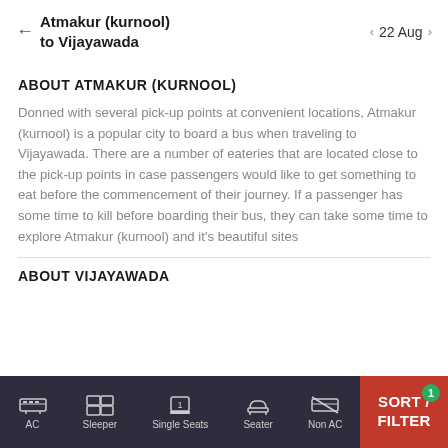Atmakur (kurnool) to Vijayawada   22 Aug
ABOUT ATMAKUR (KURNOOL)
Donned with several pick-up points at convenient locations, Atmakur (kurnool) is a popular city to board a bus when traveling to Vijayawada. There are a number of eateries that are located close to the pick-up points in case passengers would like to get something to eat before the commencement of their journey. If a passenger has some time to kill before boarding their bus, they can take some time to explore Atmakur (kurnool) and it's beautiful sites
ABOUT VIJAYAWADA
AC   Sleeper   Single Seats   Seater   Non AC   SORT / FILTER